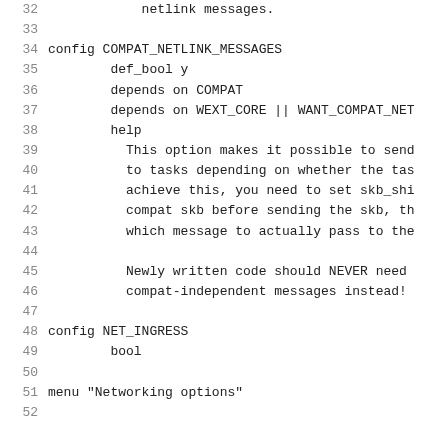Source code listing, lines 32-52, showing Linux kernel Kconfig file with COMPAT_NETLINK_MESSAGES and NET_INGRESS config entries.